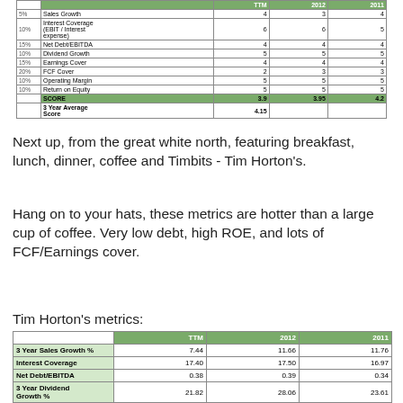|  | TTM | 2012 | 2011 |
| --- | --- | --- | --- |
| 5% Sales Growth | 4 | 3 | 4 |
| Interest Coverage (EBIT / Interest expense) 10% | 6 | 6 | 5 |
| 15% Net Debt/EBITDA | 4 | 4 | 4 |
| 10% Dividend Growth | 5 | 5 | 5 |
| 15% Earnings Cover | 4 | 4 | 4 |
| 20% FCF Cover | 2 | 3 | 3 |
| 10% Operating Margin | 5 | 5 | 5 |
| 10% Return on Equity | 5 | 5 | 5 |
| SCORE | 3.9 | 3.95 | 4.2 |
| 3 Year Average Score | 4.15 |  |  |
Next up, from the great white north, featuring breakfast, lunch, dinner, coffee and Timbits - Tim Horton's.
Hang on to your hats, these metrics are hotter than a large cup of coffee. Very low debt, high ROE, and lots of FCF/Earnings cover.
Tim Horton's metrics:
|  | TTM | 2012 | 2011 |
| --- | --- | --- | --- |
| 3 Year Sales Growth % | 7.44 | 11.66 | 11.76 |
| Interest Coverage | 17.40 | 17.50 | 16.97 |
| Net Debt/EBITDA | 0.38 | 0.39 | 0.34 |
| 3 Year Dividend Growth % | 21.82 | 28.06 | 23.61 |
| Earnings Cover | 2.81 | 3.01 | 3.27 |
| FCF Cover | 2.49 | 2.41 | 1.79 |
| Operating Margin % | 19.36 | 19.06 | 19.94 |
| Return on Equity % | 35.05 | 34.44 | 29.58 |